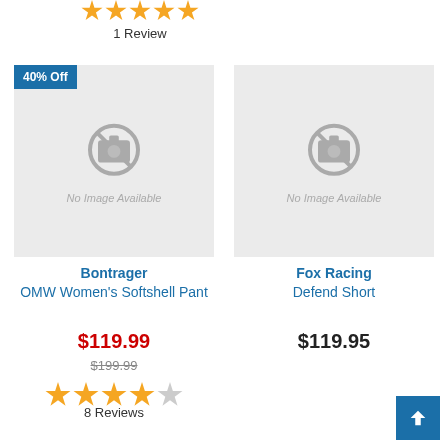[Figure (other): Five orange filled stars rating row]
1 Review
[Figure (photo): No Image Available placeholder for Bontrager OMW Women's Softshell Pant with 40% Off badge]
Bontrager
OMW Women's Softshell Pant
$119.99
$199.99
[Figure (other): Four orange stars and one gray star rating row]
8 Reviews
[Figure (photo): No Image Available placeholder for Fox Racing Defend Short]
Fox Racing
Defend Short
$119.95